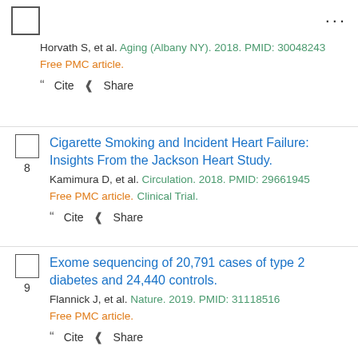Horvath S, et al. Aging (Albany NY). 2018. PMID: 30048243
Free PMC article.
Cite  Share
Cigarette Smoking and Incident Heart Failure: Insights From the Jackson Heart Study.
Kamimura D, et al. Circulation. 2018. PMID: 29661945
Free PMC article. Clinical Trial.
Cite  Share
Exome sequencing of 20,791 cases of type 2 diabetes and 24,440 controls.
Flannick J, et al. Nature. 2019. PMID: 31118516
Free PMC article.
Cite  Share